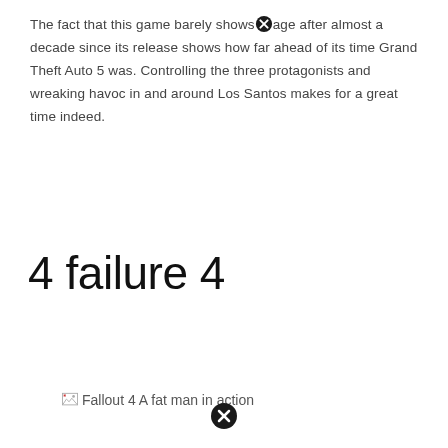The fact that this game barely shows [broken image icon] age after almost a decade since its release shows how far ahead of its time Grand Theft Auto 5 was. Controlling the three protagonists and wreaking havoc in and around Los Santos makes for a great time indeed.
4 failure 4
[Figure (photo): Broken image placeholder labeled 'Fallout 4 A fat man in action']